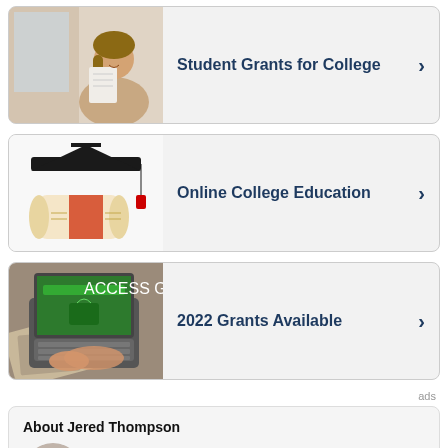[Figure (infographic): Ad card: Student Grants for College — photo of woman reading paper, with text and arrow]
[Figure (infographic): Ad card: Online College Education — photo of graduation cap and diploma, with text and arrow]
[Figure (infographic): Ad card: 2022 Grants Available — photo of laptop with 'Access Granted' screen, with text and arrow]
ads
About Jered Thompson
Jered Thompson has contributed